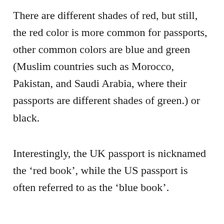There are different shades of red, but still, the red color is more common for passports, other common colors are blue and green (Muslim countries such as Morocco, Pakistan, and Saudi Arabia, where their passports are different shades of green.) or black.
Interestingly, the UK passport is nicknamed the ‘red book’, while the US passport is often referred to as the ‘blue book’.